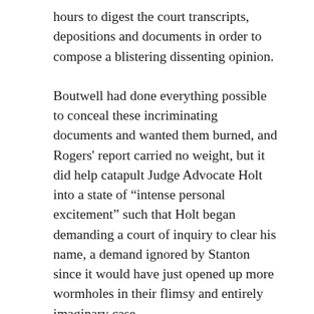hours to digest the court transcripts, depositions and documents in order to compose a blistering dissenting opinion.
Boutwell had done everything possible to conceal these incriminating documents and wanted them burned, and Rogers' report carried no weight, but it did help catapult Judge Advocate Holt into a state of "intense personal excitement" such that Holt began demanding a court of inquiry to clear his name, a demand ignored by Stanton since it would have just opened up more wormholes in their flimsy and entirely imaginary case.
But too much damage had been done by the Rogers report because President Andrew Johnson finally was made aware that the majority of officers who'd sat on the tribunal remained unconvinced of Mary Surratt's guilt and had all signed a petition requesting presidential clemency. "The president had been told that the